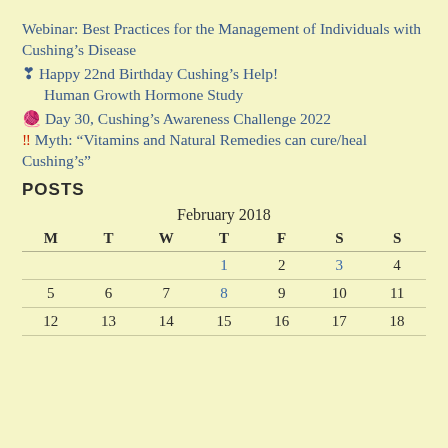Webinar: Best Practices for the Management of Individuals with Cushing's Disease
❣ Happy 22nd Birthday Cushing's Help!
Human Growth Hormone Study
🧶 Day 30, Cushing's Awareness Challenge 2022
‼ Myth: “Vitamins and Natural Remedies can cure/heal Cushing’s”
POSTS
| M | T | W | T | F | S | S |
| --- | --- | --- | --- | --- | --- | --- |
|  |  |  | 1 | 2 | 3 | 4 |
| 5 | 6 | 7 | 8 | 9 | 10 | 11 |
| 12 | 13 | 14 | 15 | 16 | 17 | 18 |